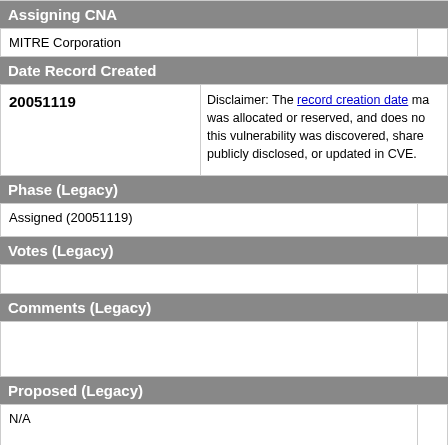Assigning CNA
| Assigning CNA |  |
| --- | --- |
| MITRE Corporation |  |
Date Record Created
| Date | Disclaimer |
| --- | --- |
| 20051119 | Disclaimer: The record creation date may reflect when the CVE ID was allocated or reserved, and does not necessarily indicate when this vulnerability was discovered, shared with the affected vendor, publicly disclosed, or updated in CVE. |
Phase (Legacy)
| Phase |  |
| --- | --- |
| Assigned (20051119) |  |
Votes (Legacy)
|  |  |
| --- | --- |
|  |  |
Comments (Legacy)
|  |  |
| --- | --- |
|  |  |
Proposed (Legacy)
|  |  |
| --- | --- |
| N/A |  |
This is a record on the CVE List, which provides common identifiers for publicly known cybersecurity vulnerabilities.
SEARCH CVE USING KEYWORDS: [search box] You can also search by reference using the CVE Reference Maps.
For More Information: CVE Request Web Form (select "Other"